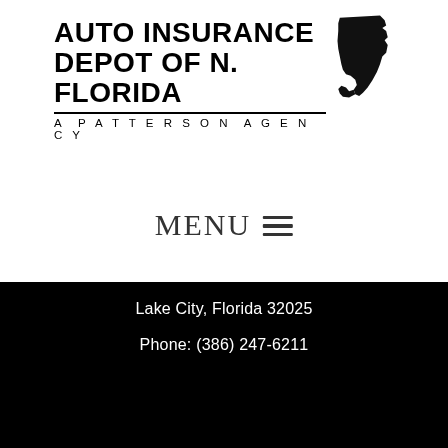[Figure (logo): Auto Insurance Depot of N. Florida - A Patterson Agency logo with Florida state silhouette]
MENU ☰
INSTANT QUOTE
Lake City, Florida 32025
Phone: (386) 247-6211